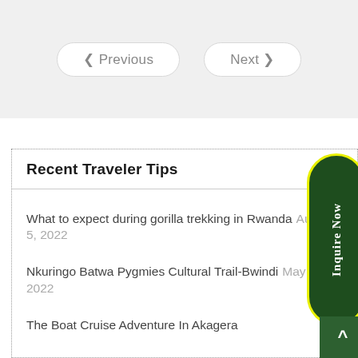[Figure (screenshot): Navigation buttons: Previous and Next with chevron arrows, on a light grey background]
Recent Traveler Tips
What to expect during gorilla trekking in Rwanda August 5, 2022
Nkuringo Batwa Pygmies Cultural Trail-Bwindi May 27, 2022
The Boat Cruise Adventure In Akagera